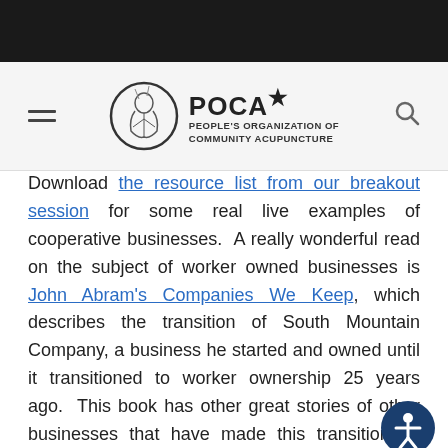POCA* PEOPLE'S ORGANIZATION of COMMUNITY ACUPUNCTURE
Download the resource list from our breakout session for some real live examples of cooperative businesses.  A really wonderful read on the subject of worker owned businesses is John Abram's Companies We Keep, which describes the transition of South Mountain Company, a business he started and owned until it transitioned to worker ownership 25 years ago.  This book has other great stories of other businesses that have made this transition as well.
As part of an ongoing conversation just starting here in Providence about making our shop worker owned we're all getting together next month to play the